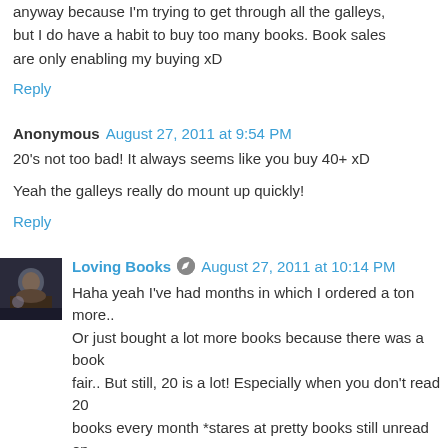anyway because I'm trying to get through all the galleys, but I do have a habit to buy too many books. Book sales are only enabling my buying xD
Reply
Anonymous  August 27, 2011 at 9:54 PM
20's not too bad! It always seems like you buy 40+ xD
Yeah the galleys really do mount up quickly!
Reply
Loving Books  August 27, 2011 at 10:14 PM
Haha yeah I've had months in which I ordered a ton more.. Or just bought a lot more books because there was a book fair.. But still, 20 is a lot! Especially when you don't read 20 books every month *stares at pretty books still unread on shelves*